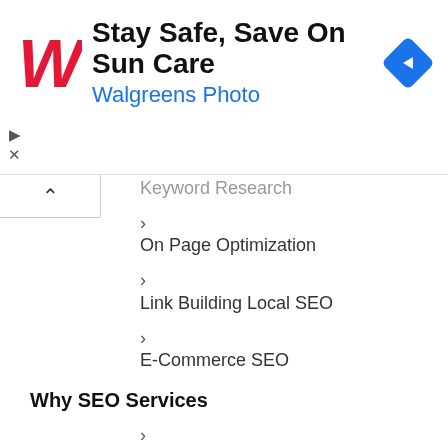[Figure (screenshot): Walgreens ad banner: 'Stay Safe, Save On Sun Care' with Walgreens Photo subtitle, red Walgreens logo, and blue navigation arrow icon]
Keyword Research
On Page Optimization
Link Building Local SEO
E-Commerce SEO
Why SEO Services
Brand Visibility
Increase your Brand Visibility
Targeted Audience
Get relevant audience to your site
High ROI
Get high ROI with less spending